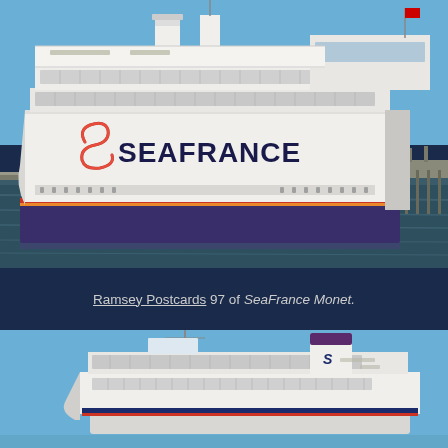[Figure (photo): Photograph of a large white SeaFrance ferry ship on the water. The ship has 'SEAFRANCE' written in large letters on its hull with a distinctive S-logo. The hull is white above the waterline and dark blue/purple below. The sky is blue and the water is dark.]
Ramsey Postcards 97 of SeaFrance Monet.
[Figure (photo): Photograph of a white SeaFrance ferry ship at sea viewed from a slightly elevated angle. The ship has multiple passenger decks with a distinctive funnel marked with the SeaFrance S-logo. The sky is bright blue.]